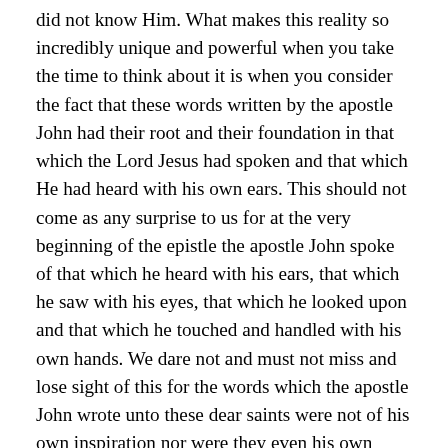did not know Him. What makes this reality so incredibly unique and powerful when you take the time to think about it is when you consider the fact that these words written by the apostle John had their root and their foundation in that which the Lord Jesus had spoken and that which He had heard with his own ears. This should not come as any surprise to us for at the very beginning of the epistle the apostle John spoke of that which he heard with his ears, that which he saw with his eyes, that which he looked upon and that which he touched and handled with his own hands. We dare not and must not miss and lose sight of this for the words which the apostle John wrote unto these dear saints were not of his own inspiration nor were they even his own words. If you read and study the words which are found in this passage of Scripture you will encounter and come face to face with the words which the Lord Jesus spoke unto the Jews and the Pharisees which are recorded in the eighth chapter of the New Testament gospel written by this same